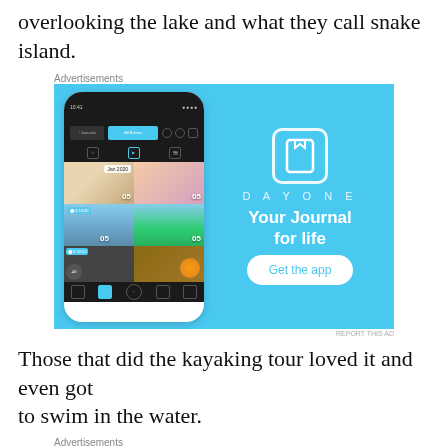overlooking the lake and what they call snake island.
Advertisements
[Figure (photo): DayOne app advertisement showing a smartphone with photo journal grid and DayOne branding with tagline 'Your Journal for life' and 'Get the app' button on sky blue background]
Those that did the kayaking tour loved it and even got
to swim in the water.
Advertisements
[Figure (photo): WordPress Hosting advertisement with dark navy background, WordPress P logo icon, text 'WORDPRESS HOSTING THAT MEANS BUSINESS.' and photo of Open sign]